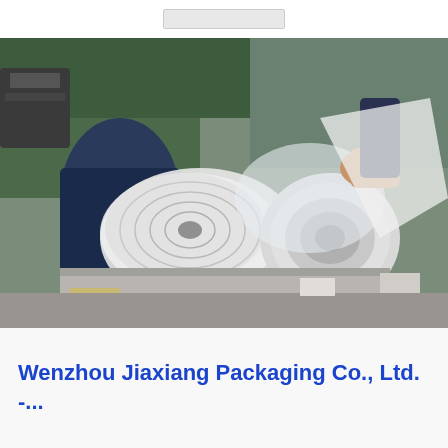[Figure (photo): Industrial packaging scene showing a person handling large rolls or sheets of transparent plastic/film material in what appears to be a factory or warehouse setting. White and grey plastic rolls are visible, with a person in dark clothing working with the material.]
Wenzhou Jiaxiang Packaging Co., Ltd. -...